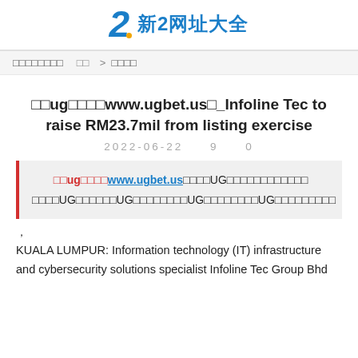2 新2网址大全
□□□□□□□□  □□ > □□□□
□□ug□□□□www.ugbet.us□_Infoline Tec to raise RM23.7mil from listing exercise
2022-06-22    9    0
□□ug□□□□www.ugbet.us□□□□UG□□□□□□□□□□□□□□□□UG□□□□□□UG□□□□□□□□UG□□□□□□□□UG□□□□□□□□□
，
KUALA LUMPUR: Information technology (IT) infrastructure and cybersecurity solutions specialist Infoline Tec Group Bhd